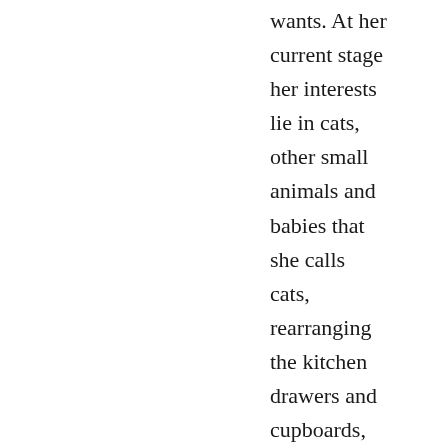wants. At her current stage her interests lie in cats, other small animals and babies that she calls cats, rearranging the kitchen drawers and cupboards, wrestling over toys with her cousins etc. I don't feel she is missing out by not having a line up of dolls to play with.
I guess coming from a family with 3 girls I want her to have the freedom to participate in whatever takes her fancy. I am keen for her to grow up with an attitude that if something interests her she should give it a go, rather than – that's a thing that boys do, I can't do that. Our grandmother, also 1 of 3 girls was keen to be an architect herself, back in the 1940's. I'm pretty sure that wasn't the